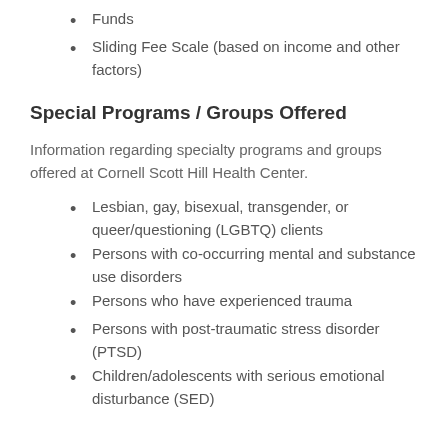Funds
Sliding Fee Scale (based on income and other factors)
Special Programs / Groups Offered
Information regarding specialty programs and groups offered at Cornell Scott Hill Health Center.
Lesbian, gay, bisexual, transgender, or queer/questioning (LGBTQ) clients
Persons with co-occurring mental and substance use disorders
Persons who have experienced trauma
Persons with post-traumatic stress disorder (PTSD)
Children/adolescents with serious emotional disturbance (SED)